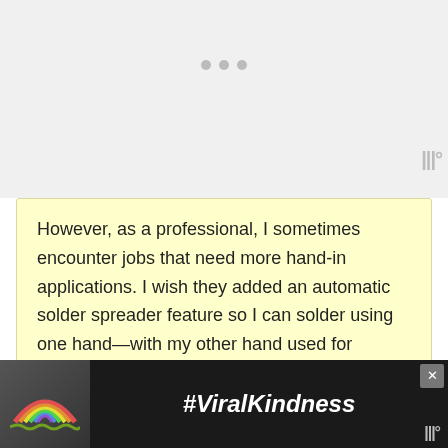However, as a professional, I sometimes encounter jobs that need more hand-in applications. I wish they added an automatic solder spreader feature so I can solder using one hand—with my other hand used for supporting the item I'm working on.
Pros
Cons
Features fast heat-
No automatic